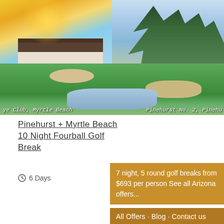[Figure (photo): Golf course photo showing two courses: left side with clubhouse building at Myrtle Beach, right side with tree-lined fairway at Pinehurst No. 2. Photo captions on lower left: 'ye Club, Myrtle Beach' and lower right: 'Pinehurst No. 2, Pinehu']
Pinehurst + Myrtle Beach 10 Night Fourball Golf Break
6 Days
7 night, 5 round golf breaks from $693 per person See all Arizona offers...
All Offers · Blog · Contact us